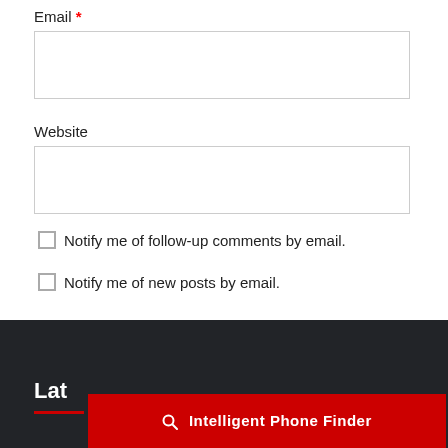Email *
Website
Notify me of follow-up comments by email.
Notify me of new posts by email.
Post Comment
Lat...
Intelligent Phone Finder